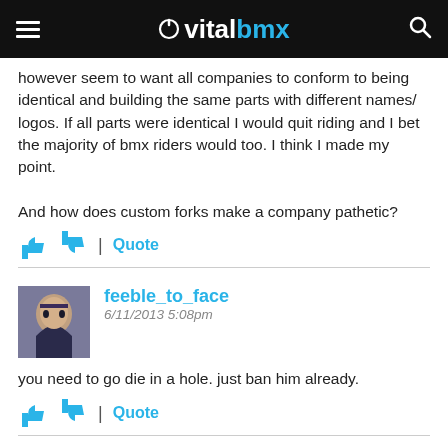vitalbmx
however seem to want all companies to conform to being identical and building the same parts with different names/ logos. If all parts were identical I would quit riding and I bet the majority of bmx riders would too. I think I made my point.

And how does custom forks make a company pathetic?
feeble_to_face
6/11/2013 5:08pm
you need to go die in a hole. just ban him already.
Topsey